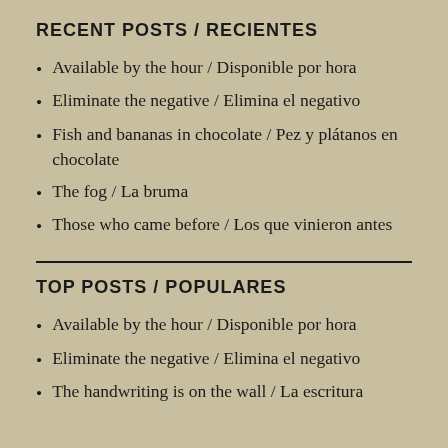RECENT POSTS / RECIENTES
Available by the hour / Disponible por hora
Eliminate the negative / Elimina el negativo
Fish and bananas in chocolate / Pez y plátanos en chocolate
The fog / La bruma
Those who came before / Los que vinieron antes
TOP POSTS / POPULARES
Available by the hour / Disponible por hora
Eliminate the negative / Elimina el negativo
The handwriting is on the wall / La escritura